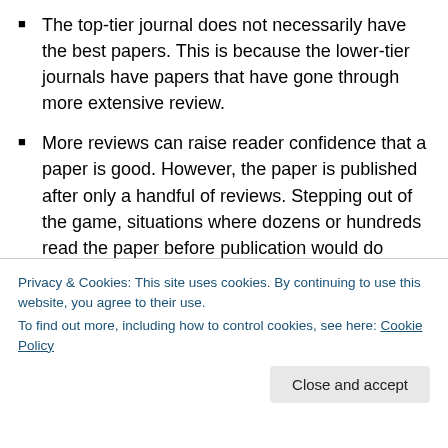The top-tier journal does not necessarily have the best papers. This is because the lower-tier journals have papers that have gone through more extensive review.
More reviews can raise reader confidence that a paper is good. However, the paper is published after only a handful of reviews. Stepping out of the game, situations where dozens or hundreds read the paper before publication would do much to diminish both false positives and false negatives in the publication decision.
Readers are more likely to read journals that maintain...
effort. The problem of trusting a false paper is
Privacy & Cookies: This site uses cookies. By continuing to use this website, you agree to their use. To find out more, including how to control cookies, see here: Cookie Policy